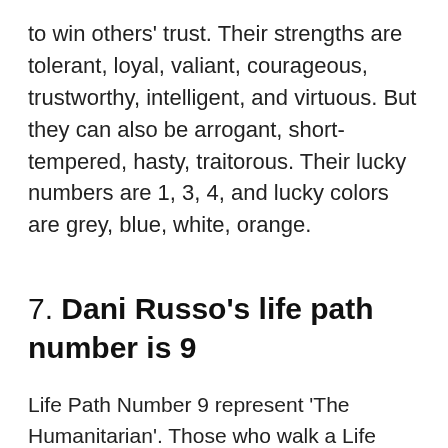to win others' trust. Their strengths are tolerant, loyal, valiant, courageous, trustworthy, intelligent, and virtuous. But they can also be arrogant, short-tempered, hasty, traitorous. Their lucky numbers are 1, 3, 4, and lucky colors are grey, blue, white, orange.
7. Dani Russo's life path number is 9
Life Path Number 9 represent 'The Humanitarian'. Those who walk a Life Path with Number 9 gift the world with the sage wisdom and incredible kindness. 9 reminds us that by allowing our own divine light to shine, we can change the world. Its energy is that of The Greater Good. The values are compassion,